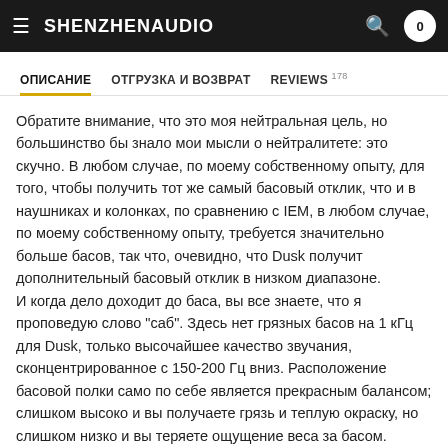SHENZHENAUDIO
ОПИСАНИЕ | ОТГРУЗКА И ВОЗВРАТ | REVIEWS 178
Обратите внимание, что это моя нейтральная цель, но большинство бы знало мои мысли о нейтралитете: это скучно. В любом случае, по моему собственному опыту, для того, чтобы получить тот же самый басовый отклик, что и в наушниках и колонках, по сравнению с IEM, в любом случае, по моему собственному опыту, требуется значительно больше басов, так что, очевидно, что Dusk получит дополнительный басовый отклик в низком диапазоне.
И когда дело доходит до баса, вы все знаете, что я проповедую слово "саб". Здесь нет грязных басов на 1 кГц для Dusk, только высочайшее качество звучания, сконцентрированное с 150-200 Гц вниз. Расположение басовой полки само по себе является прекрасным балансом; слишком высоко и вы получаете грязь и теплую окраску, но слишком низко и вы теряете ощущение веса за басом.